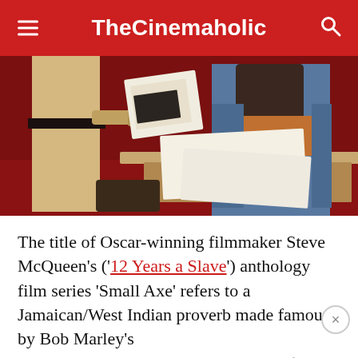TheCinemaholic
[Figure (photo): Two people in a retro diner setting; one standing in beige outfit with black belt, one seated in blue jacket and orange shirt, looking at papers/documents on a table with red booth seating.]
The title of Oscar-winning filmmaker Steve McQueen's ('12 Years a Slave') anthology film series 'Small Axe' refers to a Jamaican/West Indian proverb made famous by Bob Marley's 1973 namesake song. Considering the film documents the trials and tribulations of the Windrush generation, the people who came